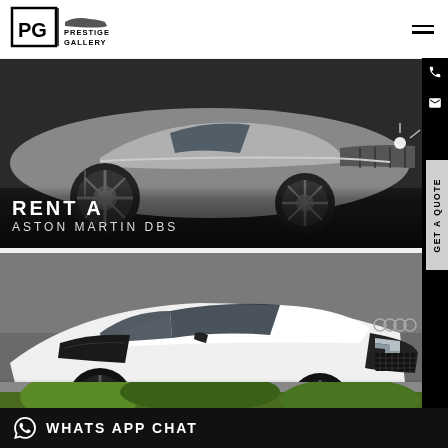[Figure (logo): Prestige Gallery logo with PG monogram and car silhouette]
[Figure (photo): Silver Aston Martin DBS sports car side profile with wheel detail and front grille]
RENT A
ASTON MARTIN DBS
[Figure (photo): White Audi R8 Plus sports car front three-quarter view in parking area]
RENT A
AUDI R8 PLUS
[Figure (photo): Partial view of third car with green foliage in background]
WHATS APP CHAT